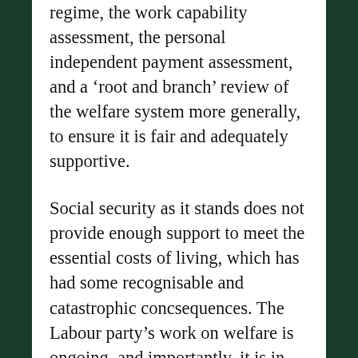regime, the work capability assessment, the personal independent payment assessment, and a ‘root and branch’ review of the welfare system more generally, to ensure it is fair and adequately supportive.
Social security as it stands does not provide enough support to meet the essential costs of living, which has had some recognisable and catastrophic concsequences. The Labour party’s work on welfare is ongoing, and importantly, it is in consultation with disabled people, allied organisations and academics who have researched the woeful and absolutely unacceptable shortcomings of the current system. The consultation